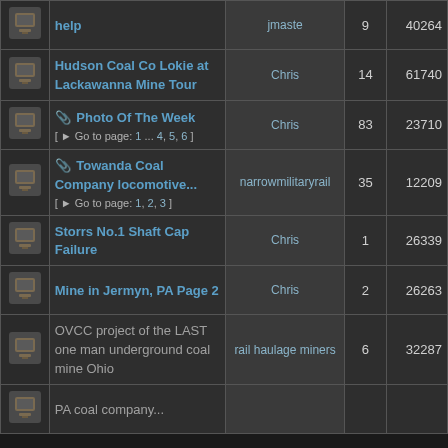|  | Topic | Last Post By | Replies | Views |
| --- | --- | --- | --- | --- |
| [icon] | help | jmaste | 9 | 40264+ |
| [icon] | Hudson Coal Co Lokie at Lackawanna Mine Tour | Chris | 14 | 61740+ |
| [icon] | 📎 Photo Of The Week [ Go to page: 1 ... 4, 5, 6 ] | Chris | 83 | 23710+ |
| [icon] | 📎 Towanda Coal Company locomotive... [ Go to page: 1, 2, 3 ] | narrowmilitaryrail | 35 | 12209+ |
| [icon] | Storrs No.1 Shaft Cap Failure | Chris | 1 | 26339+ |
| [icon] | Mine in Jermyn, PA Page 2 | Chris | 2 | 26263+ |
| [icon] | OVCC project of the LAST one man underground coal mine Ohio | rail haulage miners | 6 | 32287+ |
| [icon] | PA coal company... |  |  |  |